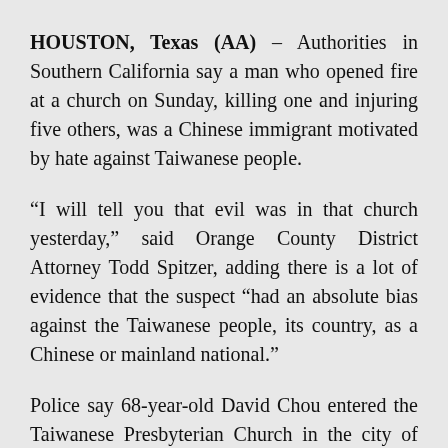HOUSTON, Texas (AA) – Authorities in Southern California say a man who opened fire at a church on Sunday, killing one and injuring five others, was a Chinese immigrant motivated by hate against Taiwanese people.
“I will tell you that evil was in that church yesterday,” said Orange County District Attorney Todd Spitzer, adding there is a lot of evidence that the suspect “had an absolute bias against the Taiwanese people, its country, as a Chinese or mainland national.”
Police say 68-year-old David Chou entered the Taiwanese Presbyterian Church in the city of Laguna Woods, 46 miles (74 kilometers) southeast of Los Angeles, and opened fire in the middle of the